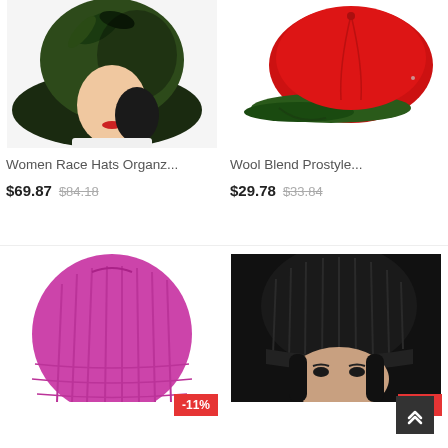[Figure (photo): Woman wearing a large wide-brim dark green floral organza hat, white top, red lips]
Women Race Hats Organz...
$69.87  $84.18
[Figure (photo): Red and green wool blend prostyle baseball cap on white background]
Wool Blend Prostyle...
$29.78  $33.84
[Figure (photo): Bright pink/magenta knit beanie hat, partial view]
-11%
[Figure (photo): Woman wearing a black knit beanie hat, dark background]
-25%